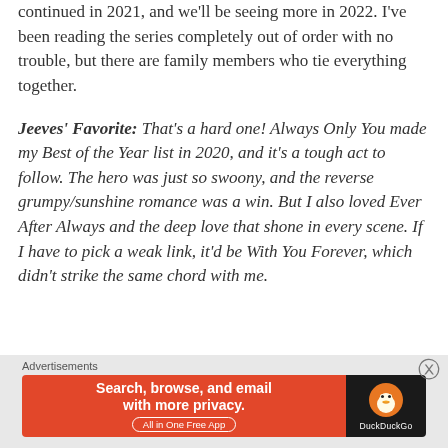continued in 2021, and we'll be seeing more in 2022. I've been reading the series completely out of order with no trouble, but there are family members who tie everything together.
Jeeves' Favorite: That's a hard one! Always Only You made my Best of the Year list in 2020, and it's a tough act to follow. The hero was just so swoony, and the reverse grumpy/sunshine romance was a win. But I also loved Ever After Always and the deep love that shone in every scene. If I have to pick a weak link, it'd be With You Forever, which didn't strike the same chord with me.
Advertisements
[Figure (other): DuckDuckGo advertisement banner: orange section with text 'Search, browse, and email with more privacy. All in One Free App' and dark section with DuckDuckGo logo.]